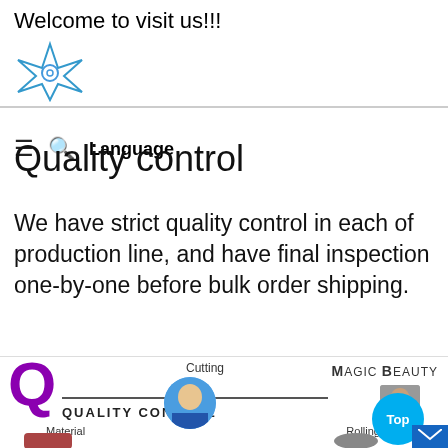Welcome to visit us!!!
Quality control
We have strict quality control in each of production line, and have final inspection one-by-one before bulk order shipping.
[Figure (infographic): Quality control infographic banner with large purple Q, 'QUALITY CONTROL' text, 'Magic Beauty' branding, and circular image thumbnails labeled Material, Cutting, Rolling. A teal 'Top' button and blue mail icon are visible on the right.]